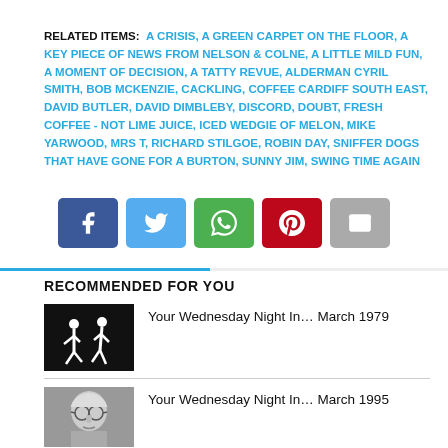RELATED ITEMS: A CRISIS, A GREEN CARPET ON THE FLOOR, A KEY PIECE OF NEWS FROM NELSON & COLNE, A LITTLE MILD FUN, A MOMENT OF DECISION, A TATTY REVUE, ALDERMAN CYRIL SMITH, BOB MCKENZIE, CACKLING, COFFEE CARDIFF SOUTH EAST, DAVID BUTLER, DAVID DIMBLEBY, DISCORD, DOUBT, FRESH COFFEE - NOT LIME JUICE, ICED WEDGIE OF MELON, MIKE YARWOOD, MRS T, RICHARD STILGOE, ROBIN DAY, SNIFFER DOGS THAT HAVE GONE FOR A BURTON, SUNNY JIM, SWING TIME AGAIN
[Figure (other): Social sharing buttons: Facebook, Twitter, WhatsApp, Pinterest, Email]
RECOMMENDED FOR YOU
[Figure (photo): Black and white photo of two dancers/performers in white costume against dark background]
Your Wednesday Night In… March 1979
[Figure (photo): Black and white portrait photo of an older man wearing glasses]
Your Wednesday Night In… March 1995